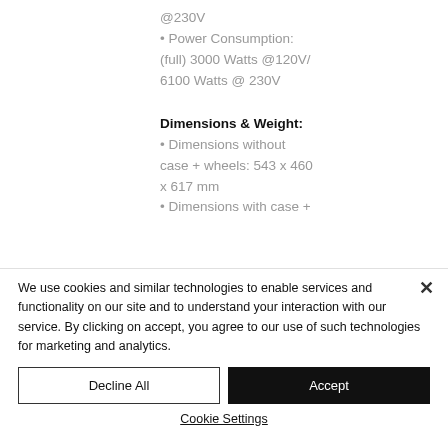@230V
• Power Consumption: (full) 3000 Watts @120V/ 6100 Watts @ 230V
Dimensions & Weight:
• Dimensions without case + wheels: 543 x 460 x 617 mm
• Dimensions with case +
We use cookies and similar technologies to enable services and functionality on our site and to understand your interaction with our service. By clicking on accept, you agree to our use of such technologies for marketing and analytics.
Decline All
Accept
Cookie Settings